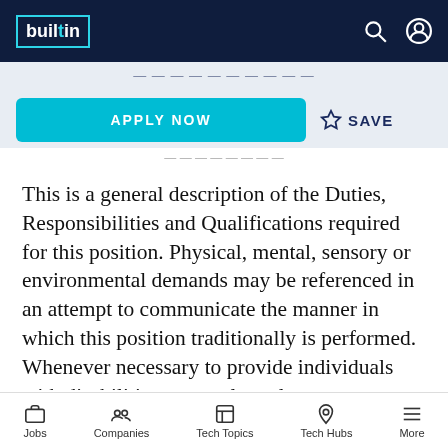builtin
APPLY NOW   ☆ SAVE
This is a general description of the Duties, Responsibilities and Qualifications required for this position. Physical, mental, sensory or environmental demands may be referenced in an attempt to communicate the manner in which this position traditionally is performed. Whenever necessary to provide individuals with disabilities an equal employment opportunity, Concentrix will consider
Jobs   Companies   Tech Topics   Tech Hubs   More